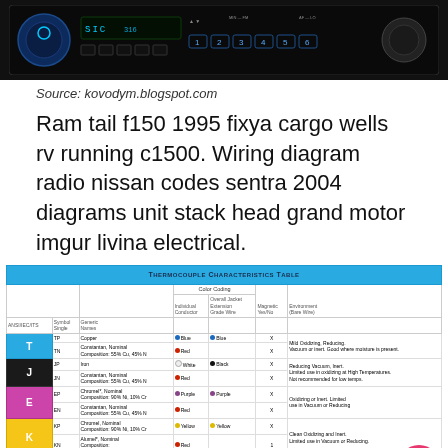[Figure (photo): Car radio/head unit with blue illuminated display and controls on black background]
Source: kovodym.blogspot.com
Ram tail f150 1995 fixya cargo wells rv running c1500. Wiring diagram radio nissan codes sentra 2004 diagrams unit stack head grand motor imgur livina electrical.
[Figure (table-as-image): Thermocouple Characteristics Table showing thermocouple types T, J, E, K, N with color coding, generic names, and environment information]